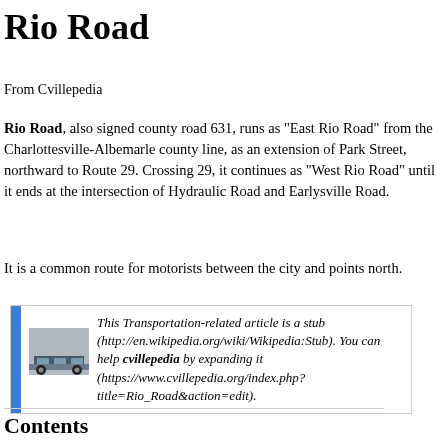Rio Road
From Cvillepedia
Rio Road, also signed county road 631, runs as "East Rio Road" from the Charlottesville-Albemarle county line, as an extension of Park Street, northward to Route 29. Crossing 29, it continues as "West Rio Road" until it ends at the intersection of Hydraulic Road and Earlysville Road.
It is a common route for motorists between the city and points north.
This Transportation-related article is a stub (http://en.wikipedia.org/wiki/Wikipedia:Stub). You can help cvillepedia by expanding it (https://www.cvillepedia.org/index.php?title=Rio_Road&action=edit).
Contents